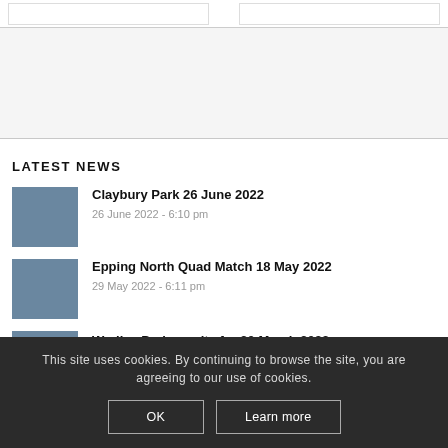LATEST NEWS
Claybury Park 26 June 2022
26 June 2022 - 6:10 pm
Epping North Quad Match 18 May 2022
29 May 2022 - 6:11 pm
Warlies Park results for 20 March 2022
This site uses cookies. By continuing to browse the site, you are agreeing to our use of cookies.
OK
Learn more